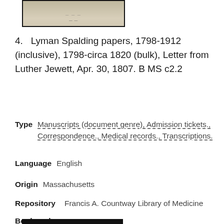[Figure (photo): Top portion of a manuscript thumbnail image showing aged paper with handwritten text, framed with a dark border.]
4.  Lyman Spalding papers, 1798-1912 (inclusive), 1798-circa 1820 (bulk), Letter from Luther Jewett, Apr. 30, 1807. B MS c2.2
Type   Manuscripts (document genre), Admission tickets., Correspondence., Medical records., Transcriptions.
Language   English
Origin   Massachusetts
Repository   Francis A. Countway Library of Medicine
Bookmark   ○
[Figure (photo): Bottom edge of a manuscript thumbnail image, dark bordered strip visible at bottom of page.]